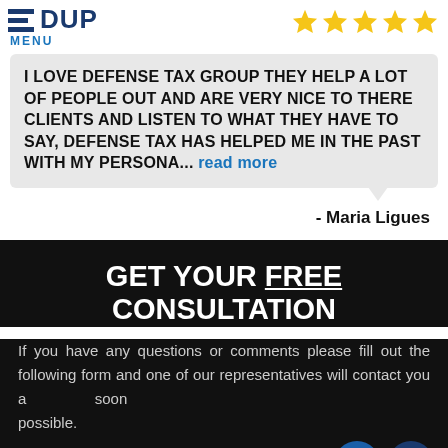DUP  MENU  ★★★★★
I LOVE DEFENSE TAX GROUP THEY HELP A LOT OF PEOPLE OUT AND ARE VERY NICE TO THERE CLIENTS AND LISTEN TO WHAT THEY HAVE TO SAY, DEFENSE TAX HAS HELPED ME IN THE PAST WITH MY PERSONA... read more
- Maria Ligues
GET YOUR FREE CONSULTATION
If you have any questions or comments please fill out the following form and one of our representatives will contact you as soon as possible.